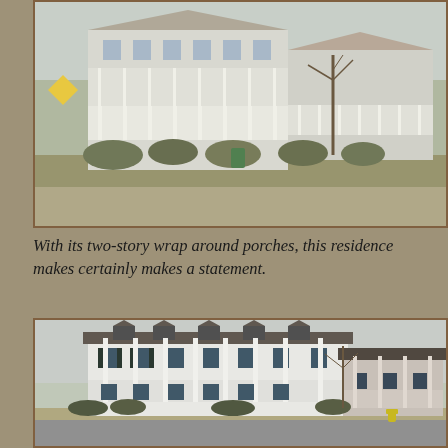[Figure (photo): Photograph of a large coastal residence with two-story wrap-around white porches, multiple buildings visible, bare trees, shrubs along a retaining wall, street in foreground.]
With its two-story wrap around porches, this residence makes certainly makes a statement.
[Figure (photo): Photograph of a large white two-story colonial-style house with wrap-around porches and dormer windows, a smaller house visible to the right, bare trees, yellow fire hydrant in foreground, street corner visible.]